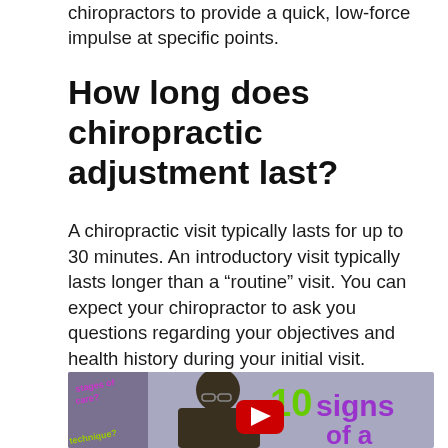chiropractors to provide a quick, low-force impulse at specific points.
How long does chiropractic adjustment last?
A chiropractic visit typically lasts for up to 30 minutes. An introductory visit typically lasts longer than a “routine” visit. You can expect your chiropractor to ask you questions regarding your objectives and health history during your initial visit.
[Figure (screenshot): YouTube video thumbnail showing a person with text '10 signs of a', 'stages of care?', and 'technique?' overlaid on a purple/grey background with a YouTube play button.]